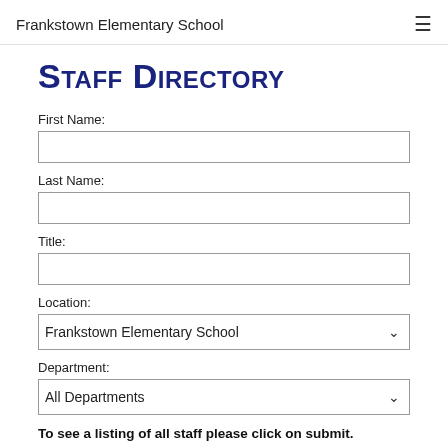Frankstown Elementary School
Staff Directory
First Name:
Last Name:
Title:
Location:
Frankstown Elementary School
Department:
All Departments
To see a listing of all staff please click on submit.